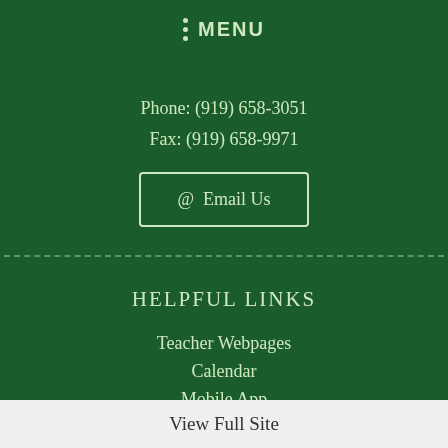MENU
Phone: (919) 658-3051
Fax: (919) 658-9971
@ Email Us
HELPFUL LINKS
Teacher Webpages
Calendar
Mobile App
View Full Site